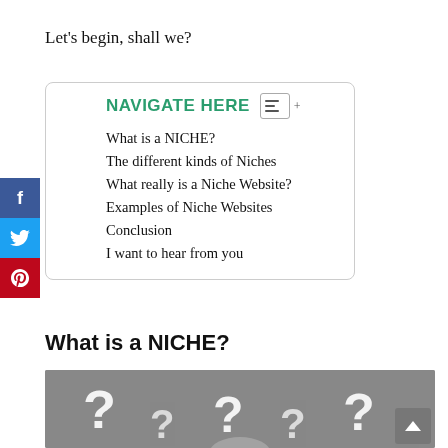Let's begin, shall we?
NAVIGATE HERE
What is a NICHE?
The different kinds of Niches
What really is a Niche Website?
Examples of Niche Websites
Conclusion
I want to hear from you
What is a NICHE?
[Figure (photo): Person surrounded by large white question marks on a grey background]